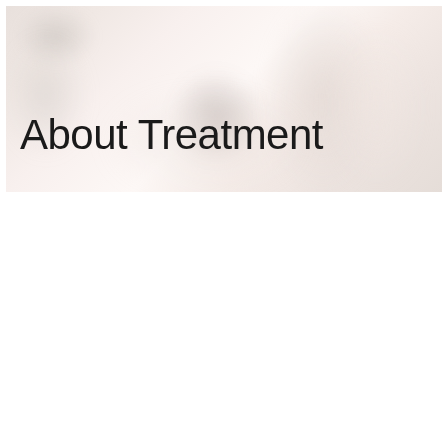[Figure (photo): A blurred/washed-out photo of a person (likely a patient) receiving a facial treatment, with a light and airy aesthetic. The image is very light and desaturated, showing a face from above with what appears to be a treatment device being applied.]
About Treatment